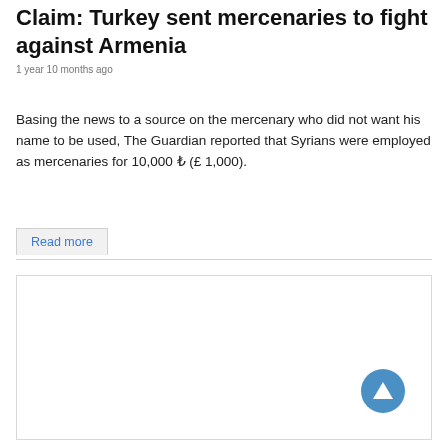Claim: Turkey sent mercenaries to fight against Armenia
1 year 10 months ago
Basing the news to a source on the mercenary who did not want his name to be used, The Guardian reported that Syrians were employed as mercenaries for 10,000 ₺ (£ 1,000).
Read more
[Figure (other): Empty content box with a blue circular scroll-to-top button in the bottom right corner]